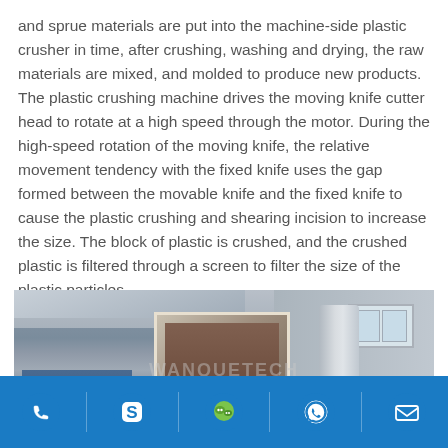and sprue materials are put into the machine-side plastic crusher in time, after crushing, washing and drying, the raw materials are mixed, and molded to produce new products. The plastic crushing machine drives the moving knife cutter head to rotate at a high speed through the motor. During the high-speed rotation of the moving knife, the relative movement tendency with the fixed knife uses the gap formed between the movable knife and the fixed knife to cause the plastic crushing and shearing incision to increase the size. The block of plastic is crushed, and the crushed plastic is filtered through a screen to filter the size of the plastic particles.
[Figure (photo): Industrial warehouse interior showing large machinery including what appears to be a plastic crushing machine, a cylindrical tank, and blue machinery. The space has a metal roof structure and windows visible on the right wall. Watermark text visible in center of image.]
Contact icons: phone, Skype, WeChat, WhatsApp, email